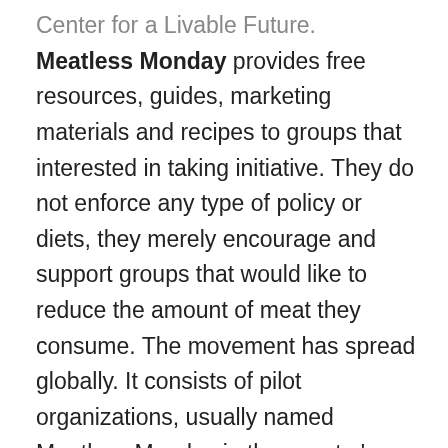Center for a Livable Future. Meatless Monday provides free resources, guides, marketing materials and recipes to groups that interested in taking initiative. They do not enforce any type of policy or diets, they merely encourage and support groups that would like to reduce the amount of meat they consume. The movement has spread globally. It consists of pilot organizations, usually named Meatless Monday in the country's lingua franca. These organizations promote the concept but institutions, communities, and municipalities are actually responsible for changing the weekly diet and developing alternative options. This makes it hard to interpret the success of the